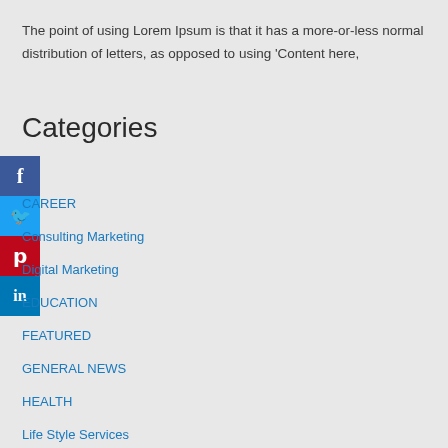The point of using Lorem Ipsum is that it has a more-or-less normal distribution of letters, as opposed to using 'Content here,
Categories
[Figure (other): Social media share buttons sidebar: Facebook (blue), Twitter (light blue), Pinterest (red), LinkedIn (dark blue)]
CAREER
Consulting Marketing
Digital Marketing
EDUCATION
FEATURED
GENERAL NEWS
HEALTH
Life Style Services
Online Marketing